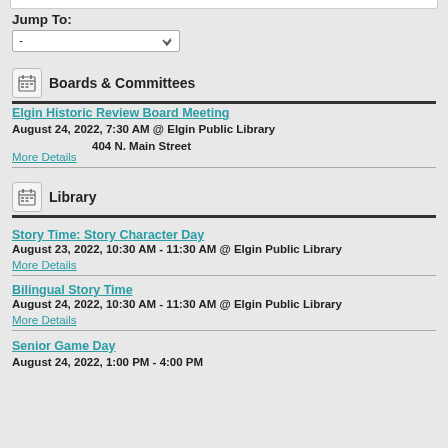Jump To:
[Figure (screenshot): Jump To dropdown selector with dash and chevron arrow]
Boards & Committees
Elgin Historic Review Board Meeting
August 24, 2022, 7:30 AM  @ Elgin Public Library
404 N. Main Street
More Details
Library
Story Time: Story Character Day
August 23, 2022, 10:30 AM - 11:30 AM  @ Elgin Public Library
More Details
Bilingual Story Time
August 24, 2022, 10:30 AM - 11:30 AM  @ Elgin Public Library
More Details
Senior Game Day
August 24, 2022, 1:00 PM - 4:00 PM